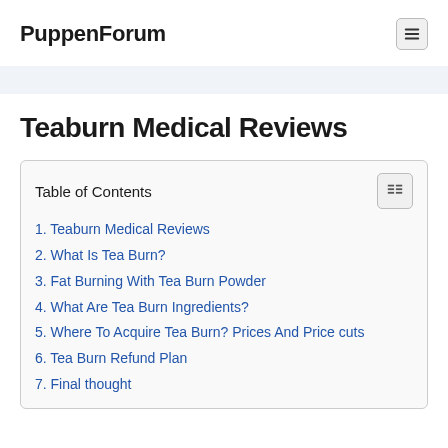PuppenForum
Teaburn Medical Reviews
| Table of Contents |
| --- |
| 1. Teaburn Medical Reviews |
| 2. What Is Tea Burn? |
| 3. Fat Burning With Tea Burn Powder |
| 4. What Are Tea Burn Ingredients? |
| 5. Where To Acquire Tea Burn? Prices And Price cuts |
| 6. Tea Burn Refund Plan |
| 7. Final thought |
| 8. (ACT NOW & SAVE) Get Tea Burn Free The... |